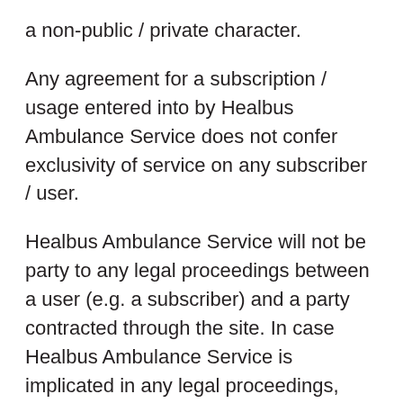a non-public / private character.
Any agreement for a subscription / usage entered into by Healbus Ambulance Service does not confer exclusivity of service on any subscriber / user.
Healbus Ambulance Service will not be party to any legal proceedings between a user (e.g. a subscriber) and a party contracted through the site. In case Healbus Ambulance Service is implicated in any legal proceedings, costs will be recovered from the party that names Healbus Ambulance Service. Healbus Ambulance Service however will abide with any court order served on it through due process. Healbus Ambulance Service controls and operates this Platform from its headquarters in Bhubaneswar and